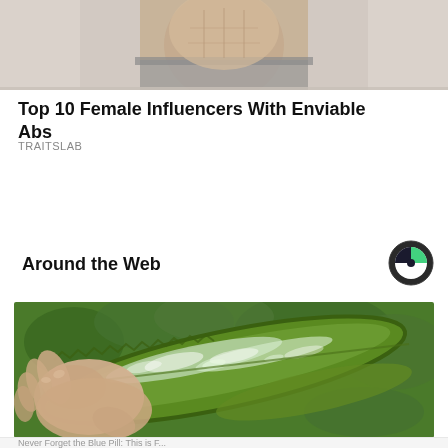[Figure (photo): Cropped photo of a person showing midsection/abs area, top portion cut off]
Top 10 Female Influencers With Enviable Abs
TRAITSLAB
Around the Web
[Figure (logo): Cobalt/Outbrain circular logo with green and dark segments]
[Figure (photo): Hand holding a cut aloe vera leaf showing the gel inside, against a green foliage background]
Never Forget the Blue Pill: This is F...